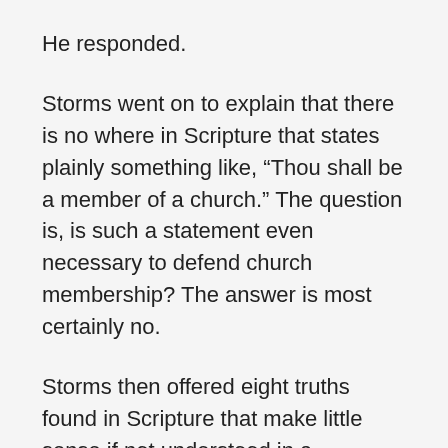He responded.
Storms went on to explain that there is no where in Scripture that states plainly something like, “Thou shall be a member of a church.” The question is, is such a statement even necessary to defend church membership? The answer is most certainly no.
Storms then offered eight truths found in Scripture that make little sense if not understood in a covenant membership context.
1. Accountability to the elders in the church